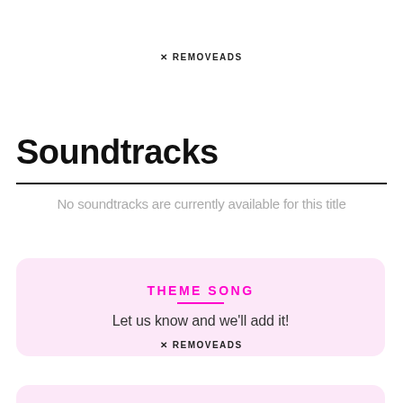✕ REMOVEADS
Soundtracks
No soundtracks are currently available for this title
THEME SONG
Let us know and we'll add it!
✕ REMOVEADS